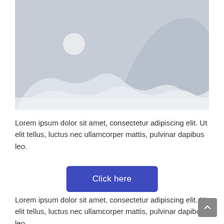[Figure (illustration): Placeholder image with grey background, white mountain/hill silhouettes and a white circle representing sun]
Lorem ipsum dolor sit amet, consectetur adipiscing elit. Ut elit tellus, luctus nec ullamcorper mattis, pulvinar dapibus leo.
Click here
Lorem ipsum dolor sit amet, consectetur adipiscing elit. Ut elit tellus, luctus nec ullamcorper mattis, pulvinar dapibus leo.